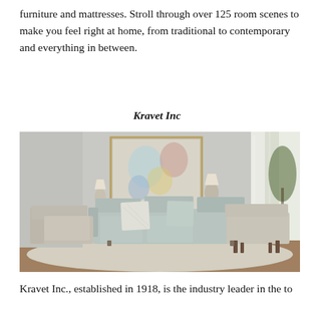furniture and mattresses. Stroll through over 125 room scenes to make you feel right at home, from traditional to contemporary and everything in between.
Kravet Inc
[Figure (photo): Interior room scene showing a modern living room with a light grey sofa, decorative pillows in mint/aqua tones, two accent chairs in grey upholstery with wooden legs, side tables with gourd-shaped lamps, a large abstract painting in a gold frame on the wall, and sheer curtains by a window with a tree visible outside.]
Kravet Inc., established in 1918, is the industry leader in the to